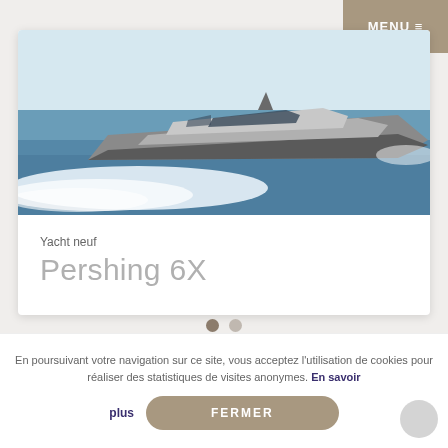MENU ≡
[Figure (photo): A luxury motorboat/yacht (Pershing 6X) speeding across blue water, creating a large white wake. The yacht is silver/grey with a sleek modern design.]
Yacht neuf
Pershing 6X
En poursuivant votre navigation sur ce site, vous acceptez l'utilisation de cookies pour réaliser des statistiques de visites anonymes. En savoir plus
FERMER